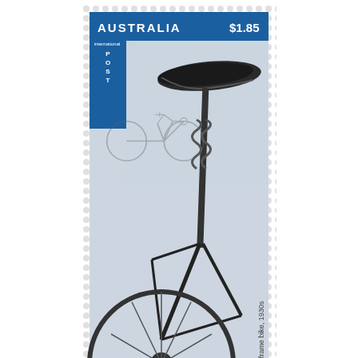[Figure (illustration): Australian postage stamp showing a men's sprung-frame bicycle from the 1930s. The stamp features a blue header bar with 'AUSTRALIA' on the left and '$1.85' on the right. An 'International POST' badge appears in the upper left corner. The stamp image shows a close-up of a bicycle saddle and frame with a smaller full bicycle outline in the background. A vertical caption reads 'Men's sprung-frame bike, 1930s'. The stamp has a perforated border.]
I've become a bit of a new issues service for Australia Post lately. I didn't mean to. It's just that AP has been in great form. Also, I've only written about the stuff I love, not the issues that have left me feeling meh. This is the opposite of what writing on the internet is meant to be. You're meant to ignore good things, while ensuring that anyone in public life who has done wrong knows all about